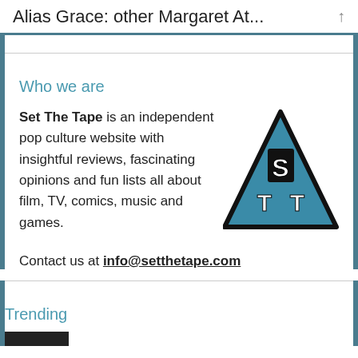Alias Grace: other Margaret At...
Who we are
Set The Tape is an independent pop culture website with insightful reviews, fascinating opinions and fun lists all about film, TV, comics, music and games.
[Figure (logo): Set The Tape logo: a teal triangle with black outline containing the letters S, T, T in white block lettering]
Contact us at info@setthetape.com
Trending